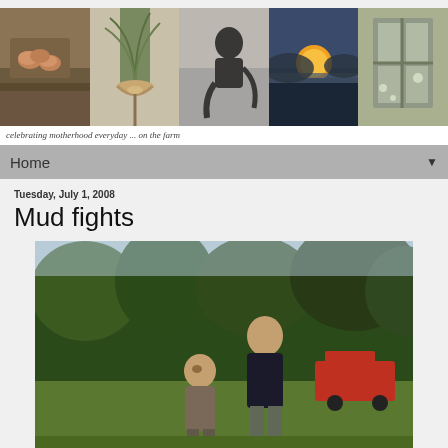[Figure (photo): Header photo strip with five photos: bowl of eggs on wooden shelf, bundled herbs tied with twine, black-and-white photo of child sitting, sunset landscape, and window with flowers]
celebrating motherhood everyday ... on the farm
Home ▼
Tuesday, July 1, 2008
Mud fights
[Figure (photo): Two boys standing outdoors with trees and a red truck in background, both appear to have been playing in mud]